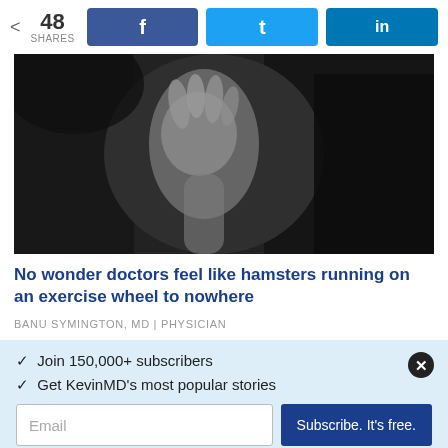48 SHARES
[Figure (photo): Black and white photo of a person with their hand raised, appearing stressed or overwhelmed, against a dark background.]
No wonder doctors feel like hamsters running on an exercise wheel to nowhere
BANU SYMINGTON, MD | PHYSICIAN
Join 150,000+ subscribers
Get KevinMD's most popular stories